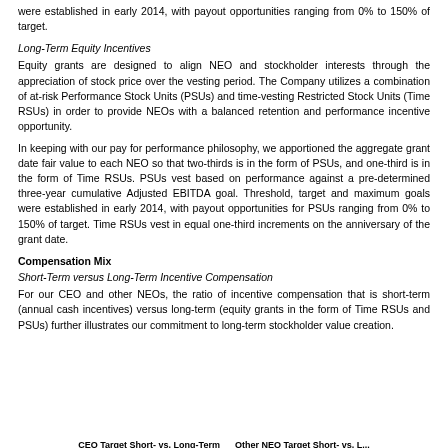were established in early 2014, with payout opportunities ranging from 0% to 150% of target.
Long-Term Equity Incentives
Equity grants are designed to align NEO and stockholder interests through the appreciation of stock price over the vesting period. The Company utilizes a combination of at-risk Performance Stock Units (PSUs) and time-vesting Restricted Stock Units (Time RSUs) in order to provide NEOs with a balanced retention and performance incentive opportunity.
In keeping with our pay for performance philosophy, we apportioned the aggregate grant date fair value to each NEO so that two-thirds is in the form of PSUs, and one-third is in the form of Time RSUs. PSUs vest based on performance against a pre-determined three-year cumulative Adjusted EBITDA goal. Threshold, target and maximum goals were established in early 2014, with payout opportunities for PSUs ranging from 0% to 150% of target. Time RSUs vest in equal one-third increments on the anniversary of the grant date.
Compensation Mix
Short-Term versus Long-Term Incentive Compensation
For our CEO and other NEOs, the ratio of incentive compensation that is short-term (annual cash incentives) versus long-term (equity grants in the form of Time RSUs and PSUs) further illustrates our commitment to long-term stockholder value creation.
CEO Target Short- vs. Long-Term          Other NEO Target Short- vs. L...